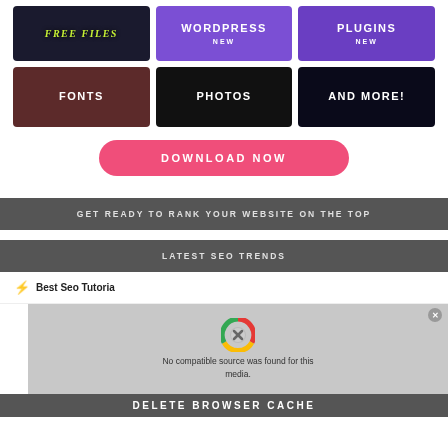[Figure (screenshot): Grid of category tiles: FREE FILES, WORDPRESS (NEW), PLUGINS (NEW), FONTS, PHOTOS, AND MORE!]
DOWNLOAD NOW
GET READY TO RANK YOUR WEBSITE ON THE TOP
LATEST SEO TRENDS
⚡ Best Seo Tutoria
[Figure (screenshot): Video player showing 'No compatible source was found for this media.' with Chrome broken icon overlay, and 'DELETE BROWSER CACHE' text at the bottom]